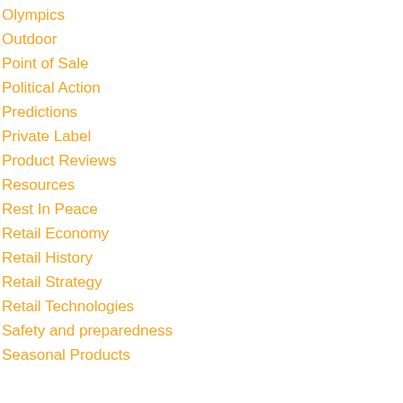Olympics
Outdoor
Point of Sale
Political Action
Predictions
Private Label
Product Reviews
Resources
Rest In Peace
Retail Economy
Retail History
Retail Strategy
Retail Technologies
Safety and preparedness
Seasonal Products